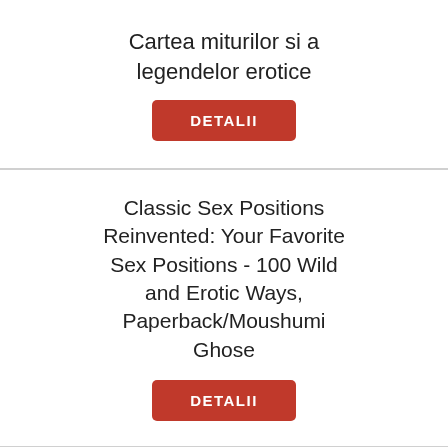Cartea miturilor si a legendelor erotice
DETALII
Classic Sex Positions Reinvented: Your Favorite Sex Positions - 100 Wild and Erotic Ways, Paperback/Moushumi Ghose
DETALII